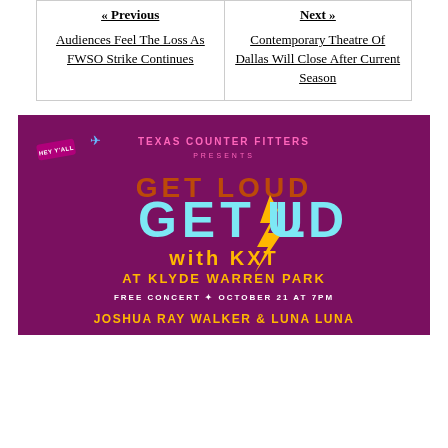« Previous
Audiences Feel The Loss As FWSO Strike Continues
Next »
Contemporary Theatre Of Dallas Will Close After Current Season
[Figure (illustration): Promotional advertisement for 'Get Loud with KXT at Klyde Warren Park' presented by Texas Counter Fitters. Purple/magenta background with stylized text. Features 'GET LOUD' in large light blue letters with a lightning bolt, orange/gold accent text reading 'with KXT', 'AT KLYDE WARREN PARK', 'FREE CONCERT OCTOBER 21 AT 7PM', 'JOSHUA RAY WALKER & LUNA LUNA'. A small airplane graphic and a 'HEY Y'ALL' badge are also visible.]